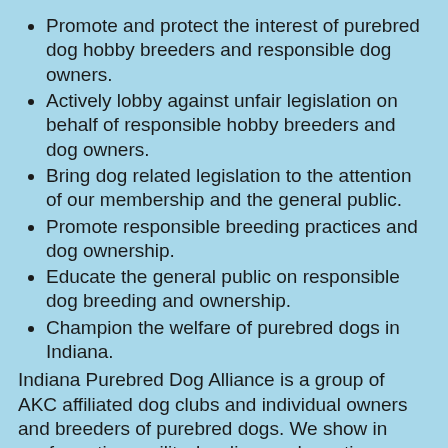Promote and protect the interest of purebred dog hobby breeders and responsible dog owners.
Actively lobby against unfair legislation on behalf of responsible hobby breeders and dog owners.
Bring dog related legislation to the attention of our membership and the general public.
Promote responsible breeding practices and dog ownership.
Educate the general public on responsible dog breeding and ownership.
Champion the welfare of purebred dogs in Indiana.
Indiana Purebred Dog Alliance is a group of AKC affiliated dog clubs and individual owners and breeders of purebred dogs. We show in conformation, agility, herding, and sporting events. Some are active in working, therapy, and search and rescue. However, first and foremost, our dogs are treasured companions.
The purpose of IPDA is to protect the existence and